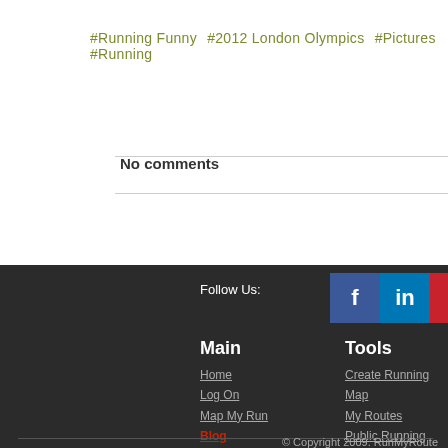#Running Funny  #2012 London Olympics  #Pictures  #Running
No comments
Follow Us:
Main
Home
Log On
Map My Run
Blog
Tools
Create Running Map
My Routes
Public Running Routes
Search Running Routes
© Copyright 2009. RunMyRoute